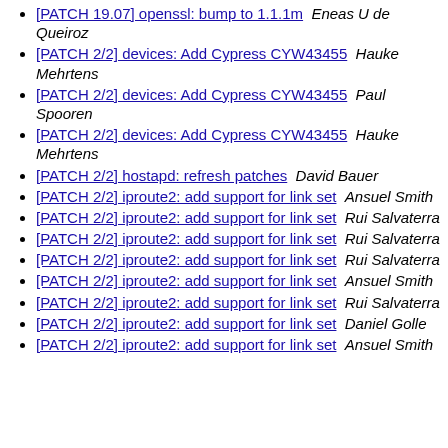[PATCH 19.07] openssl: bump to 1.1.1m  Eneas U de Queiroz
[PATCH 2/2] devices: Add Cypress CYW43455  Hauke Mehrtens
[PATCH 2/2] devices: Add Cypress CYW43455  Paul Spooren
[PATCH 2/2] devices: Add Cypress CYW43455  Hauke Mehrtens
[PATCH 2/2] hostapd: refresh patches  David Bauer
[PATCH 2/2] iproute2: add support for link set  Ansuel Smith
[PATCH 2/2] iproute2: add support for link set  Rui Salvaterra
[PATCH 2/2] iproute2: add support for link set  Rui Salvaterra
[PATCH 2/2] iproute2: add support for link set  Rui Salvaterra
[PATCH 2/2] iproute2: add support for link set  Ansuel Smith
[PATCH 2/2] iproute2: add support for link set  Rui Salvaterra
[PATCH 2/2] iproute2: add support for link set  Daniel Golle
[PATCH 2/2] iproute2: add support for link set  Ansuel Smith